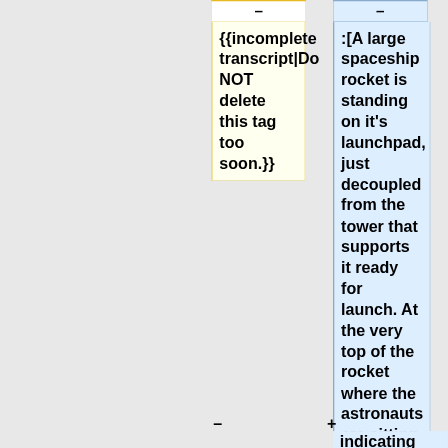–
–
{{incomplete transcript|Do NOT delete this tag too soon.}}
:[A large spaceship rocket is standing on it's launchpad, just decoupled from the tower that supports it ready for launch. At the very top of the rocket where the astronauts are sitting there are two lines coming out, indicating the
–
+
indicating the